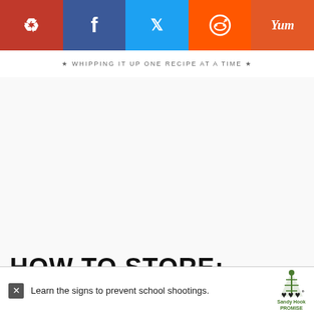[Figure (screenshot): Social media sharing bar with Pinterest (red), Facebook (dark blue), Twitter (light blue), Reddit (orange), and Yummly (dark orange) buttons]
WHIPPING IT UP ONE RECIPE AT A TIME
[Figure (screenshot): White advertisement placeholder area]
[Figure (infographic): Heart/like button showing 97 likes and a share button on the right sidebar]
HOW TO STORE:
This can be stored in an airtight cont... where it will keep in the refrigerator for up to 4 d...
[Figure (photo): Thumbnail image of Instant Pot Spaghetti next to a WHAT'S NEXT panel]
WHAT'S NEXT → Instant Pot Spaghetti
[Figure (screenshot): Bottom advertisement banner: Learn the signs to prevent school shootings. Sandy Hook Promise logo with tree graphic.]